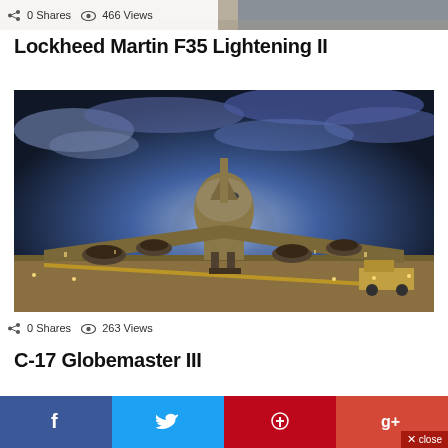[Figure (photo): Partial top image of an aircraft (cropped), with wood-textured background visible]
0 Shares   466 Views
Lockheed Martin F35 Lightening II
[Figure (photo): C-17 Globemaster III military transport aircraft on a tarmac at night, front-facing view with dramatic stormy clouds and lightning in background. A pickup truck is visible to the right.]
0 Shares   263 Views
C-17 Globemaster III
[Figure (photo): Partial bottom image, appears to show another military aircraft scene]
[Figure (infographic): Social sharing bar with Facebook, Twitter, Pinterest, and Google+ buttons, plus a close button]